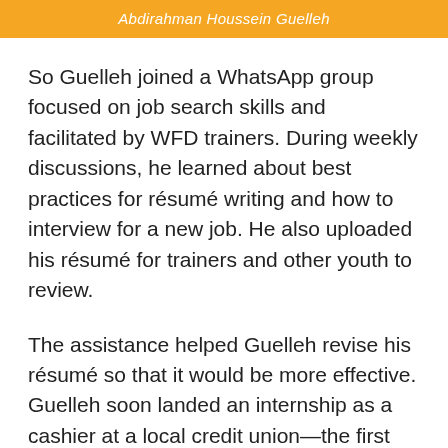Abdirahman Houssein Guelleh
So Guelleh joined a WhatsApp group focused on job search skills and facilitated by WFD trainers. During weekly discussions, he learned about best practices for résumé writing and how to interview for a new job. He also uploaded his résumé for trainers and other youth to review.
The assistance helped Guelleh revise his résumé so that it would be more effective. Guelleh soon landed an internship as a cashier at a local credit union—the first step toward his career goal of becoming an accountant.